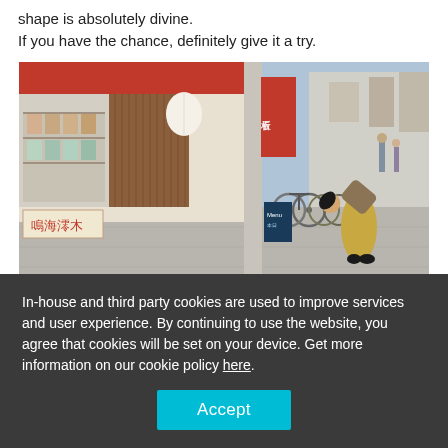shape is absolutely divine.
If you have the chance, definitely give it a try.
[Figure (photo): Street scene in Japan showing a traditional shop front with red awning, display cases with goods, wooden storefront, bicycles parked, and a woman bowing on the sidewalk of a busy shopping street.]
We also found a delicious looking Okonomiyaki restaurant.
In-house and third party cookies are used to improve services and user experience. By continuing to use the website, you agree that cookies will be set on your device. Get more information on our cookie policy here.